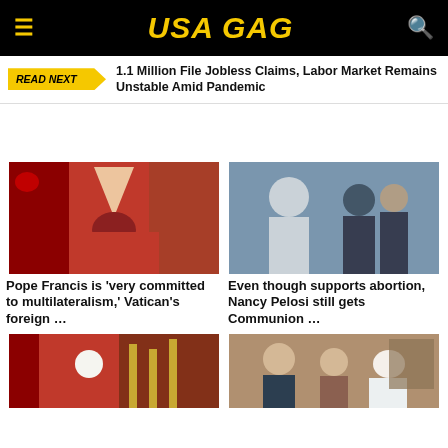USA GAG
READ NEXT  1.1 Million File Jobless Claims, Labor Market Remains Unstable Amid Pandemic
[Figure (photo): Pope Francis in red vestments and mitre during a religious ceremony]
Pope Francis is 'very committed to multilateralism,' Vatican's foreign ...
[Figure (photo): Pope Francis meeting Nancy Pelosi, shaking hands]
Even though supports abortion, Nancy Pelosi still gets Communion ...
[Figure (photo): Pope Francis in red vestments bowing in prayer]
[Figure (photo): Joe Biden and a woman meeting with Pope Francis]